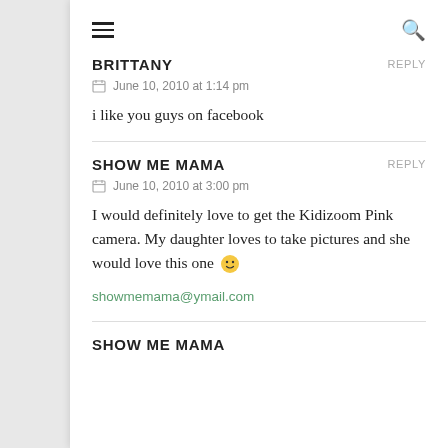≡  🔍
BRITTANY   REPLY
June 10, 2010 at 1:14 pm
i like you guys on facebook
SHOW ME MAMA   REPLY
June 10, 2010 at 3:00 pm
I would definitely love to get the Kidizoom Pink camera. My daughter loves to take pictures and she would love this one 🙂
showmemama@ymail.com
SHOW ME MAMA